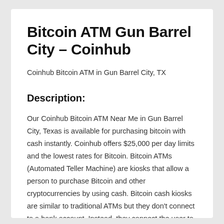Bitcoin ATM Gun Barrel City – Coinhub
Coinhub Bitcoin ATM in Gun Barrel City, TX
Description:
Our Coinhub Bitcoin ATM Near Me in Gun Barrel City, Texas is available for purchasing bitcoin with cash instantly. Coinhub offers $25,000 per day limits and the lowest rates for Bitcoin. Bitcoin ATMs (Automated Teller Machine) are kiosks that allow a person to purchase Bitcoin and other cryptocurrencies by using cash. Bitcoin cash kiosks are similar to traditional ATMs but they don't connect to a bank account. Instead, they connect the user to a Bitcoin wallet.